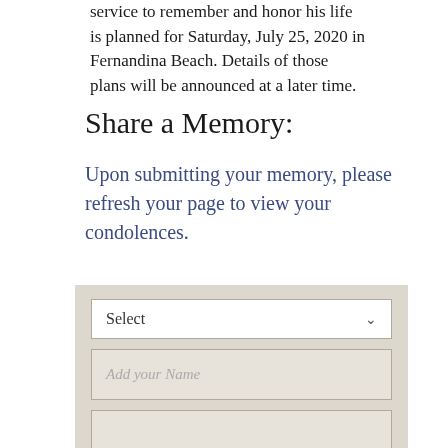service to remember and honor his life is planned for Saturday, July 25, 2020 in Fernandina Beach. Details of those plans will be announced at a later time.
Share a Memory:
Upon submitting your memory, please refresh your page to view your condolences.
[Figure (other): A form area with a dropdown select field, a name input field with placeholder 'Add your Name', and a comments textarea with placeholder 'Comments', all on a beige/tan background.]